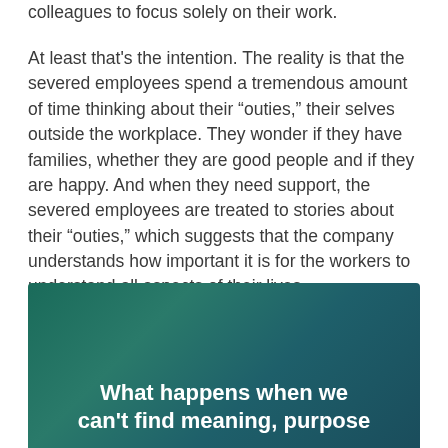colleagues to focus solely on their work.
At least that’s the intention. The reality is that the severed employees spend a tremendous amount of time thinking about their “outies,” their selves outside the workplace. They wonder if they have families, whether they are good people and if they are happy. And when they need support, the severed employees are treated to stories about their “outies,” which suggests that the company understands how important it is for the workers to understand all aspects of their lives.
[Figure (other): Dark teal/green gradient background panel with white bold text reading: What happens when we can’t find meaning, purpose (text continues below visible area)]